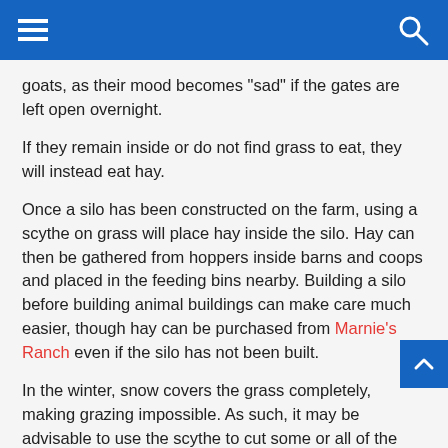[hamburger menu] [search icon]
goats, as their mood becomes "sad" if the gates are left open overnight.
If they remain inside or do not find grass to eat, they will instead eat hay.
Once a silo has been constructed on the farm, using a scythe on grass will place hay inside the silo. Hay can then be gathered from hoppers inside barns and coops and placed in the feeding bins nearby. Building a silo before building animal buildings can make care much easier, though hay can be purchased from Marnie's Ranch even if the silo has not been built.
In the winter, snow covers the grass completely, making grazing impossible. As such, it may be advisable to use the scythe to cut some or all of the grass into hay before the end of the fall season to ensure enough reserve hay